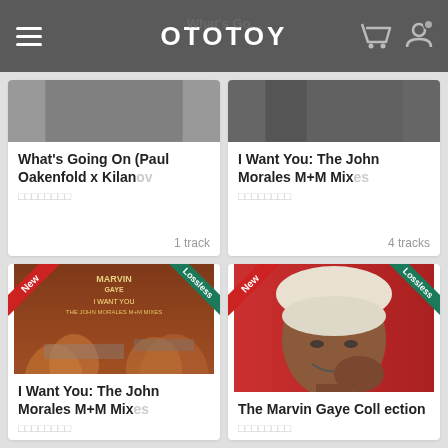OTOTOY
What's Going On (Paul Oakenfold x Kilanov
マーヴィン・ゲイ
1 track
I Want You: The John Morales M+M Mixes
マーヴィン・ゲイ
4 tracks
[Figure (photo): Album cover for I Want You: The John Morales M+M Mixes by Marvin Gaye, showing crowd scene with New and Lossless badges]
I Want You: The John Morales M+M Mixes
マーヴィン・ゲイ
[Figure (photo): Album cover for The Marvin Gaye Collection showing Marvin Gaye smiling with hand near face, red background, with New and Lossless badges]
The Marvin Gaye Collection
マーヴィン・ゲイ